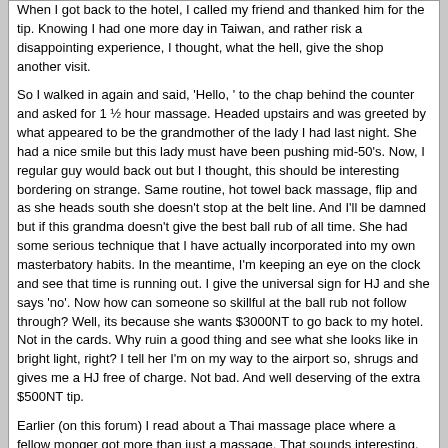When I got back to the hotel, I called my friend and thanked him for the tip. Knowing I had one more day in Taiwan, and rather risk a disappointing experience, I thought, what the hell, give the shop another visit.

So I walked in again and said, 'Hello, ' to the chap behind the counter and asked for 1 ½ hour massage. Headed upstairs and was greeted by what appeared to be the grandmother of the lady I had last night. She had a nice smile but this lady must have been pushing mid-50's. Now, I regular guy would back out but I thought, this should be interesting bordering on strange. Same routine, hot towel back massage, flip and as she heads south she doesn't stop at the belt line. And I'll be damned but if this grandma doesn't give the best ball rub of all time. She had some serious technique that I have actually incorporated into my own masterbatory habits. In the meantime, I'm keeping an eye on the clock and see that time is running out. I give the universal sign for HJ and she says 'no'. Now how can someone so skillful at the ball rub not follow through? Well, its because she wants $3000NT to go back to my hotel. Not in the cards. Why ruin a good thing and see what she looks like in bright light, right? I tell her I'm on my way to the airport so, shrugs and gives me a HJ free of charge. Not bad. And well deserving of the extra $500NT tip.

Earlier (on this forum) I read about a Thai massage place where a fellow monger got more than just a massage. That sounds interesting. I'll be staying north of the main train station (don't know the hotel as of yet) but I can navigate pretty well with Google.

Now my question. In three weeks I'll be in Taiwan for a few nights. I would love to find a place with a good massage and a guaranteed HJ.
Exile | 10-28-11, 12:58
Cum inside her as long as its in her mouth or in her ass.Done the former with her but not the latter yet. She is sort of annoying and probably not worth another visit.
LeSoLiDe | 11-04-11, 03:34